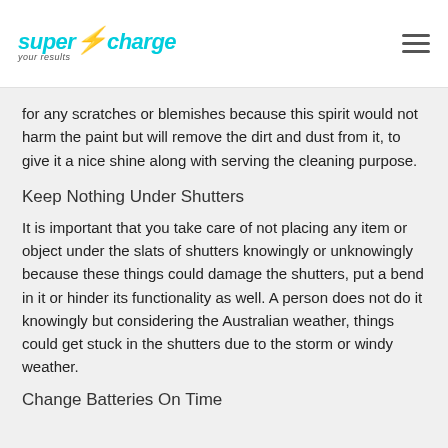supercharge your results
for any scratches or blemishes because this spirit would not harm the paint but will remove the dirt and dust from it, to give it a nice shine along with serving the cleaning purpose.
Keep Nothing Under Shutters
It is important that you take care of not placing any item or object under the slats of shutters knowingly or unknowingly because these things could damage the shutters, put a bend in it or hinder its functionality as well. A person does not do it knowingly but considering the Australian weather, things could get stuck in the shutters due to the storm or windy weather.
Change Batteries On Time